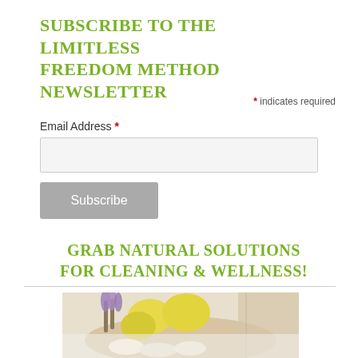SUBSCRIBE TO THE LIMITLESS FREEDOM METHOD NEWSLETTER
* indicates required
Email Address *
Subscribe
GRAB NATURAL SOLUTIONS FOR CLEANING & WELLNESS!
[Figure (photo): Photo of lemons, lavender, and candles/natural cleaning products in a wooden bowl]